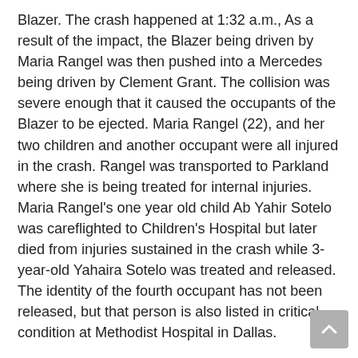Blazer. The crash happened at 1:32 a.m., As a result of the impact, the Blazer being driven by Maria Rangel was then pushed into a Mercedes being driven by Clement Grant. The collision was severe enough that it caused the occupants of the Blazer to be ejected. Maria Rangel (22), and her two children and another occupant were all injured in the crash. Rangel was transported to Parkland where she is being treated for internal injuries. Maria Rangel's one year old child Ab Yahir Sotelo was careflighted to Children's Hospital but later died from injuries sustained in the crash while 3-year-old Yahaira Sotelo was treated and released. The identity of the fourth occupant has not been released, but that person is also listed in critical condition at Methodist Hospital in Dallas.
According to police, Romero fled the scene but was arrested a short time later in Arlington after being stopped while driving on a flat tire. Romero has been charged with intoxication manslaughter. In addition, prosecutors have the option of adding additional charges for intoxication assault depending upon the severity of the injuries sustained by the remaining victims.
According to information from NHTSA and MADD, night time is still the most dangerous time to be driving. Approximately 28% of